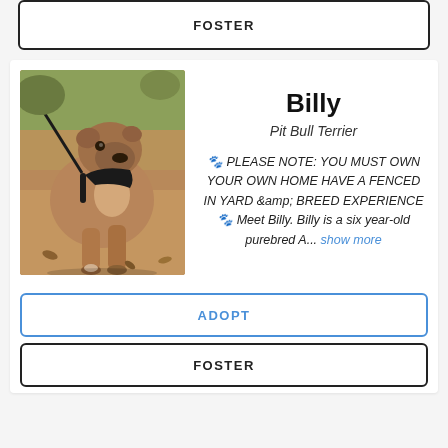FOSTER
[Figure (photo): A Pit Bull Terrier dog named Billy standing outdoors on dry grass/leaves, viewed from the side, wearing a black harness and leash. Trees visible in background.]
Billy
Pit Bull Terrier
🐾 PLEASE NOTE: YOU MUST OWN YOUR OWN HOME HAVE A FENCED IN YARD &amp; BREED EXPERIENCE🐾 Meet Billy.  Billy is a six year-old purebred A... show more
ADOPT
FOSTER